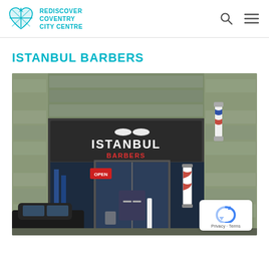REDISCOVER COVENTRY CITY CENTRE
ISTANBUL BARBERS
[Figure (photo): Exterior storefront photo of Istanbul Barbers shop with dark signage displaying 'ISTANBUL' in white letters, a barber pole on the right, glass door entrance, and stone/concrete wall surroundings. A black car is partially visible on the left and there is a reCAPTCHA Privacy-Terms badge in the bottom right corner.]